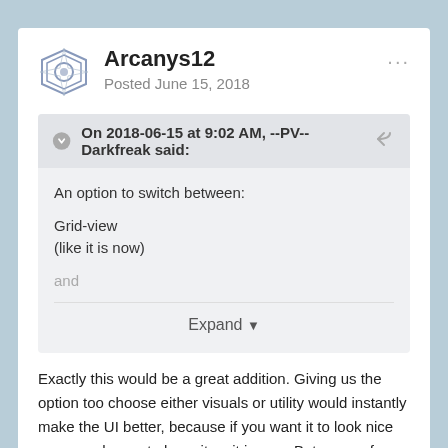Arcanys12
Posted June 15, 2018
On 2018-06-15 at 9:02 AM, --PV--Darkfreak said:
An option to switch between:

Grid-view
(like it is now)

and
Expand
Exactly this would be a great addition. Giving us the option too choose either visuals or utility would instantly make the UI better, because if you want it to look nice you can choose to have it as it is now. But many of us would really prefer to have the utility of the old